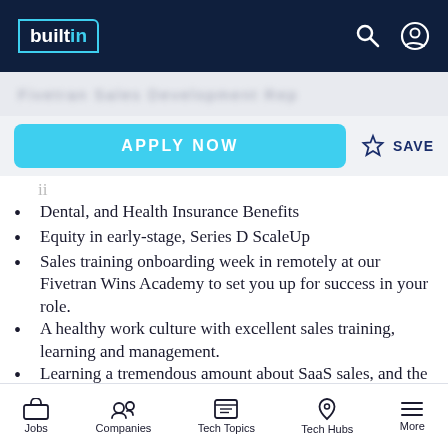builtin
[blurred header text]
APPLY NOW   ☆ SAVE
Dental, and Health Insurance Benefits
Equity in early-stage, Series D ScaleUp
Sales training onboarding week in remotely at our Fivetran Wins Academy to set you up for success in your role.
A healthy work culture with excellent sales training, learning and management.
Learning a tremendous amount about SaaS sales, and the data space
President's club trips for top performers
Team building events throughout the year
Jobs   Companies   Tech Topics   Tech Hubs   More